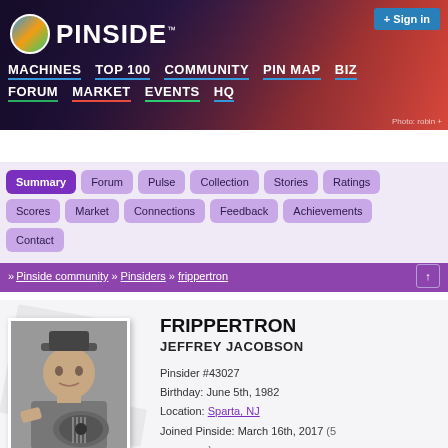[Figure (screenshot): Pinside website header banner with logo, navigation menu items (Machines, Top 100, Community, Pin Map, Biz, Forum, Market, Events, HQ), Sign in button, and background photo of microphones. Photo credit: robin.]
» Pinside community » Pinsiders » frippertron
Summary
Forum
Pulse
Collection
Stories
Ratings
Scores
Market
Connections
Feedback
Achievements
Contact
[Figure (photo): Black and white photo of a man wearing a hat and playing guitar]
FRIPPERTRON
JEFFREY JACOBSON
Pinsider #43027
Birthday: June 5th, 1982
Location: Sparta, NJ
Joined Pinside: March 16th, 2017 (5 years ago)